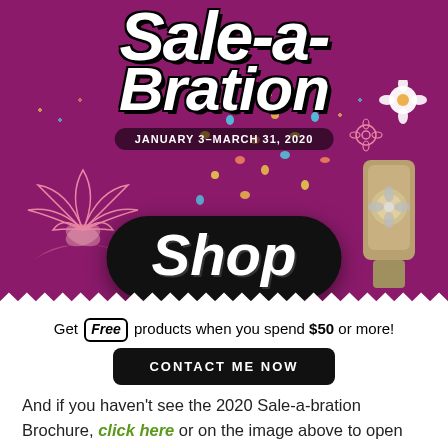[Figure (illustration): Sale-a-Bration promotional banner with purple background, sequins, lotus flower, flowers, craft punch tool, 'Shop' button, and date January 3-March 31, 2020]
Get Free products when you spend $50 or more!
CONTACT ME NOW
And if you haven't see the 2020 Sale-a-bration Brochure, click here or on the image above to open the online PDF.